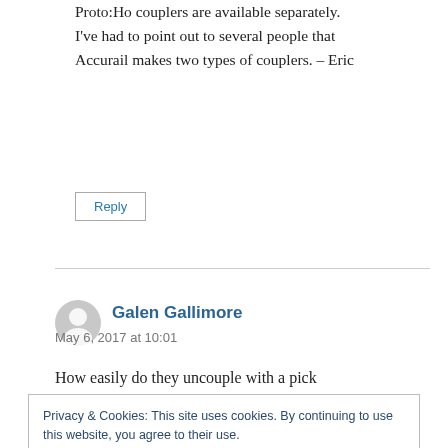Proto:Ho couplers are available separately. I've had to point out to several people that Accurail makes two types of couplers. – Eric
Reply
Galen Gallimore
May 6, 2017 at 10:01
How easily do they uncouple with a pick
Privacy & Cookies: This site uses cookies. By continuing to use this website, you agree to their use.
To find out more, including how to control cookies, see here:
Cookie Policy
Close and accept
is) and I have no LHS close by to look in person